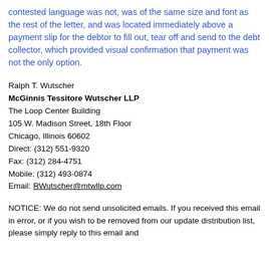contested language was not, was of the same size and font as the rest of the letter, and was located immediately above a payment slip for the debtor to fill out, tear off and send to the debt collector, which provided visual confirmation that payment was not the only option.
Ralph T. Wutscher
McGinnis Tessitore Wutscher LLP
The Loop Center Building
105 W. Madison Street, 18th Floor
Chicago, Illinois 60602
Direct: (312) 551-9320
Fax: (312) 284-4751
Mobile: (312) 493-0874
Email: RWutscher@mtwllp.com
NOTICE: We do not send unsolicited emails. If you received this email in error, or if you wish to be removed from our update distribution list, please simply reply to this email and